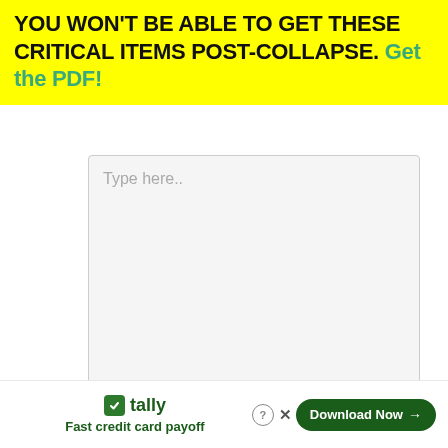YOU WON'T BE ABLE TO GET THESE CRITICAL ITEMS POST-COLLAPSE. Get the PDF!
[Figure (screenshot): A large empty textarea input field with placeholder text 'Type here..' on a light gray background]
[Figure (screenshot): A second input field partially visible at the bottom]
Fast credit card payoff
Download Now →